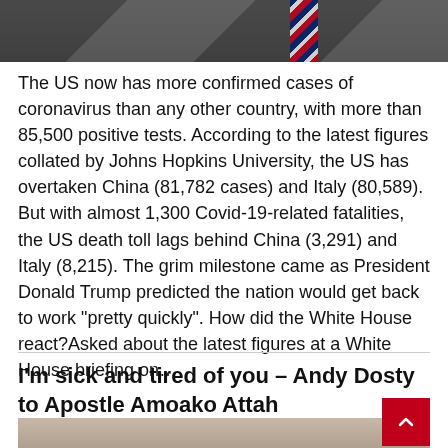[Figure (photo): Top portion of a person in a suit with a red striped tie, dark background]
The US now has more confirmed cases of coronavirus than any other country, with more than 85,500 positive tests. According to the latest figures collated by Johns Hopkins University, the US has overtaken China (81,782 cases) and Italy (80,589). But with almost 1,300 Covid-19-related fatalities, the US death toll lags behind China (3,291) and Italy (8,215). The grim milestone came as President Donald Trump predicted the nation would get back to work "pretty quickly". How did the White House react?Asked about the latest figures at a White House briefing on...
I'm sick and tired of you – Andy Dosty to Apostle Amoako Attah
[Figure (photo): Partial photo of a person, cropped at bottom of page]